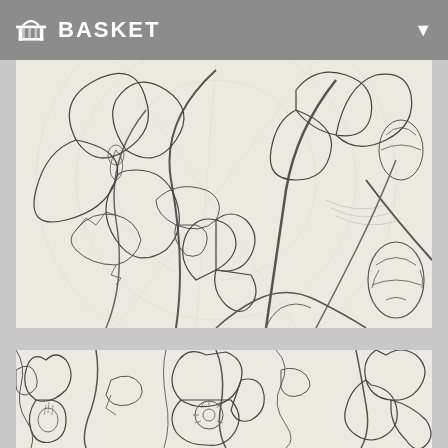BASKET
[Figure (illustration): Detailed pencil sketch drawing of poppies and large decorative flowers with stems and leaves on a light background, showing intricate line work and shading.]
[Figure (illustration): Second pencil sketch drawing of poppies and large blooming flowers with curling petals and leaves, similar botanical illustration style on a light background.]